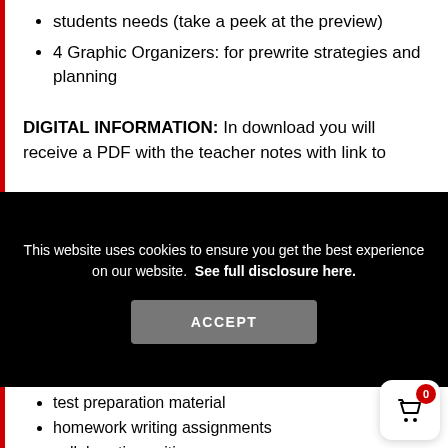students needs (take a peek at the preview)
4 Graphic Organizers: for prewrite strategies and planning
DIGITAL INFORMATION: In download you will receive a PDF with the teacher notes with link to
This website uses cookies to ensure you get the best experience on our website.  See full disclosure here.
ACCEPT
test preparation material
homework writing assignments
collaborative writing
paragraph writing practice
extensions for GT, or accelerated learners